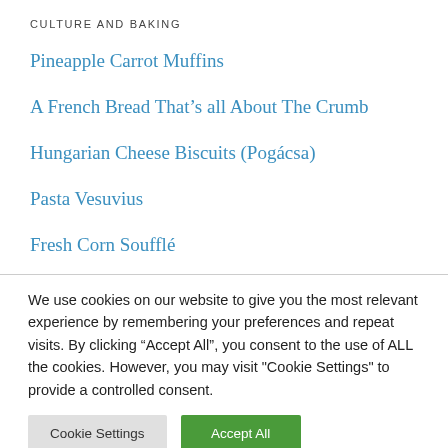CULTURE AND BAKING
Pineapple Carrot Muffins
A French Bread That's all About The Crumb
Hungarian Cheese Biscuits (Pogácsa)
Pasta Vesuvius
Fresh Corn Soufflé
We use cookies on our website to give you the most relevant experience by remembering your preferences and repeat visits. By clicking "Accept All", you consent to the use of ALL the cookies. However, you may visit "Cookie Settings" to provide a controlled consent.
Cookie Settings | Accept All